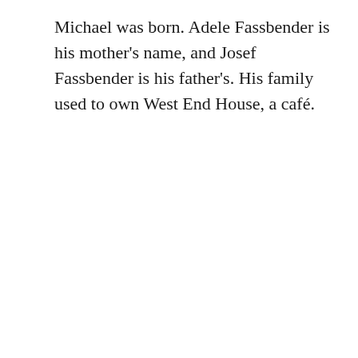Michael was born. Adele Fassbender is his mother's name, and Josef Fassbender is his father's. His family used to own West End House, a café.